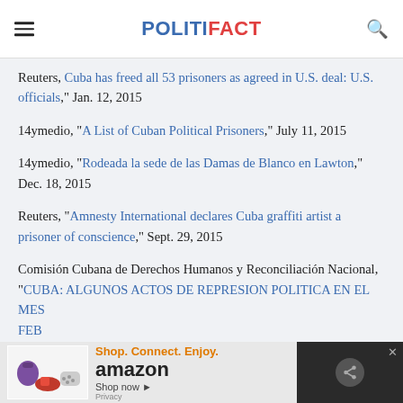POLITIFACT
Reuters, "Cuba has freed all 53 prisoners as agreed in U.S. deal: U.S. officials," Jan. 12, 2015
14ymedio, "A List of Cuban Political Prisoners," July 11, 2015
14ymedio, "Rodeada la sede de las Damas de Blanco en Lawton," Dec. 18, 2015
Reuters, "Amnesty International declares Cuba graffiti artist a prisoner of conscience," Sept. 29, 2015
Comisión Cubana de Derechos Humanos y Reconciliación Nacional, "CUBA: ALGUNOS ACTOS DE REPRESION POLITICA EN EL MES FEB..."